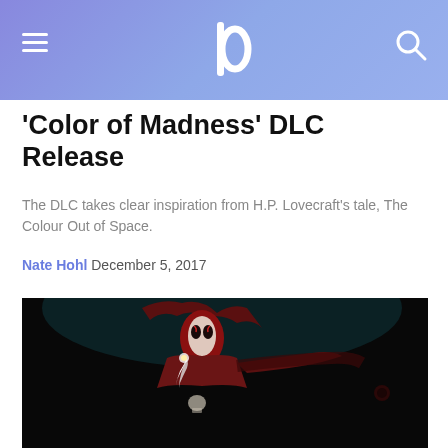IO (logo) — navigation header with hamburger menu and search icon
'Color of Madness' DLC Release
The DLC takes clear inspiration from H.P. Lovecraft's tale, The Colour Out of Space.
Nate Hohl December 5, 2017
[Figure (illustration): Dark fantasy illustration of a hooded character in a fighting pose, wearing a red cloak with a pale white face, holding a feather quill. Art style resembling Darkest Dungeon game artwork.]